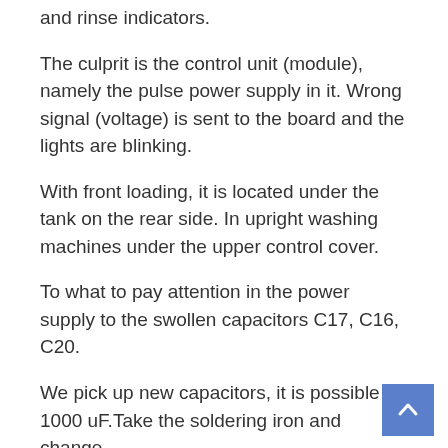and rinse indicators.
The culprit is the control unit (module), namely the pulse power supply in it. Wrong signal (voltage) is sent to the board and the lights are blinking.
With front loading, it is located under the tank on the rear side. In upright washing machines under the upper control cover.
To what to pay attention in the power supply to the swollen capacitors C17, C16, C20.
We pick up new capacitors, it is possible on 1000 uF.Take the soldering iron and change.
001.Control knob 002 white buttons on/off/reset 003.control panel white 004 switch bitron 005 function keys 007 display 008 cover knob 010 dispenser release lever 011 dispenser hook spring 012 dispenser release